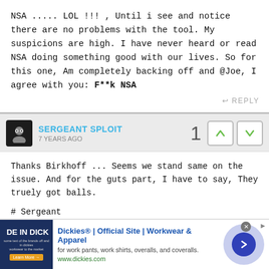NSA ..... LOL !!! , Until i see and notice there are no problems with the tool. My suspicions are high. I have never heard or read NSA doing something good with our lives. So for this one, Am completely backing off and @Joe, I agree with you: F**k NSA
REPLY
SERGEANT SPLOIT
7 YEARS AGO
Thanks Birkhoff ... Seems we stand same on the issue. And for the guts part, I have to say, They truely got balls.

# Sergeant
REPLY
[Figure (infographic): Advertisement for Dickies official site - workwear and apparel. Shows Dickies branded image on left, ad text in center, and circular button with right arrow on right.]